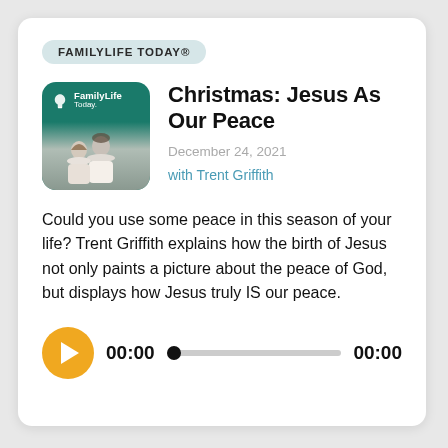FAMILYLIFE TODAY®
[Figure (photo): FamilyLife Today podcast cover art: green background with FamilyLife Today logo and a couple sitting together]
Christmas: Jesus As Our Peace
December 24, 2021
with Trent Griffith
Could you use some peace in this season of your life? Trent Griffith explains how the birth of Jesus not only paints a picture about the peace of God, but displays how Jesus truly IS our peace.
[Figure (other): Audio player with play button, time display 00:00, progress bar with dot at start, and end time 00:00]